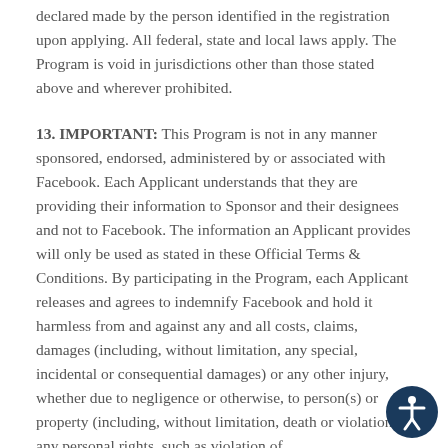declared made by the person identified in the registration upon applying. All federal, state and local laws apply. The Program is void in jurisdictions other than those stated above and wherever prohibited.
13. IMPORTANT: This Program is not in any manner sponsored, endorsed, administered by or associated with Facebook. Each Applicant understands that they are providing their information to Sponsor and their designees and not to Facebook. The information an Applicant provides will only be used as stated in these Official Terms & Conditions. By participating in the Program, each Applicant releases and agrees to indemnify Facebook and hold it harmless from and against any and all costs, claims, damages (including, without limitation, any special, incidental or consequential damages) or any other injury, whether due to negligence or otherwise, to person(s) or property (including, without limitation, death or violation of any personal rights, such as violation of